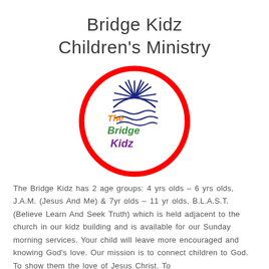Bridge Kidz Children's Ministry
[Figure (logo): The Bridge Kidz logo: a red circle border enclosing a sun/rays illustration in navy blue with colorful text reading 'The Bridge Kidz' in orange, green, and purple handwritten-style lettering.]
The Bridge Kidz has 2 age groups: 4 yrs olds – 6 yrs olds, J.A.M. (Jesus And Me) & 7yr olds – 11 yr olds, B.L.A.S.T. (Believe Learn And Seek Truth) which is held adjacent to the church in our kidz building and is available for our Sunday morning services. Your child will leave more encouraged and knowing God's love. Our mission is to connect children to God. To show them the love of Jesus Christ. To